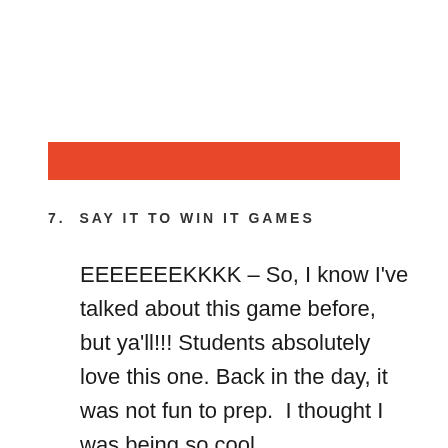[Figure (other): Orange/red horizontal decorative bar]
7.  SAY IT TO WIN IT GAMES
EEEEEEEKKKK – So, I know I've talked about this game before, but ya'll!!! Students absolutely love this one. Back in the day, it was not fun to prep.  I thought I was being so cool